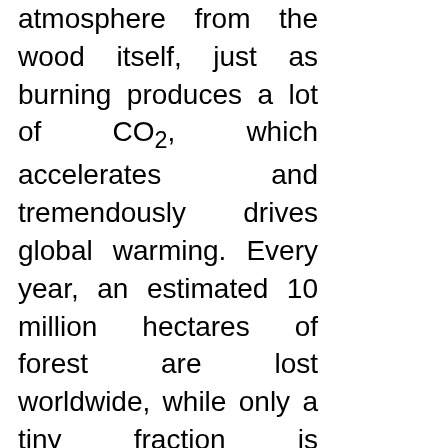atmosphere from the wood itself, just as burning produces a lot of CO₂, which accelerates and tremendously drives global warming. Every year, an estimated 10 million hectares of forest are lost worldwide, while only a tiny fraction is replanted. In Brazil in particular, a lot of virgin forest is